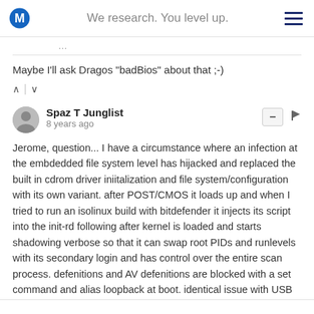We research. You level up.
Maybe I'll ask Dragos "badBios" about that ;-)
Spaz T Junglist
8 years ago
Jerome, question... I have a circumstance where an infection at the embdedded file system level has hijacked and replaced the built in cdrom driver iniitalization and file system/configuration with its own variant. after POST/CMOS it loads up and when I tried to run an isolinux build with bitdefender it injects its script into the init-rd following after kernel is loaded and starts shadowing verbose so that it can swap root PIDs and runlevels with its secondary login and has control over the entire scan process. defenitions and AV defenitions are blocked with a set command and alias loopback at boot. identical issue with USB startup, any help?? -also named matthew